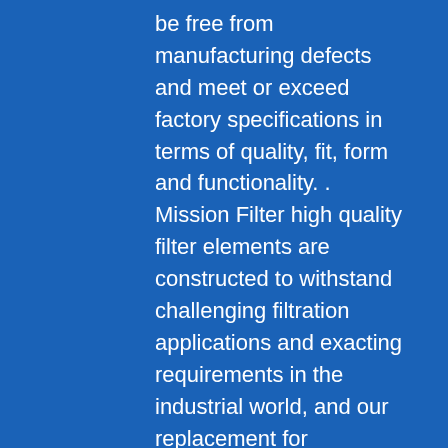be free from manufacturing defects and meet or exceed factory specifications in terms of quality, fit, form and functionality. . Mission Filter high quality filter elements are constructed to withstand challenging filtration applications and exacting requirements in the industrial world, and our replacement for PUROLATOR C8024 is no exception. Our product line includes oil air separators, hydraulic, tank breathers, air filters for compressors, mobile oil filtration unit assemblies and other unique products to cover all your filter needs for the industrial environment.Part numbers and brand names are to cross reference only. References made to companies are solely to identify the compatibility with